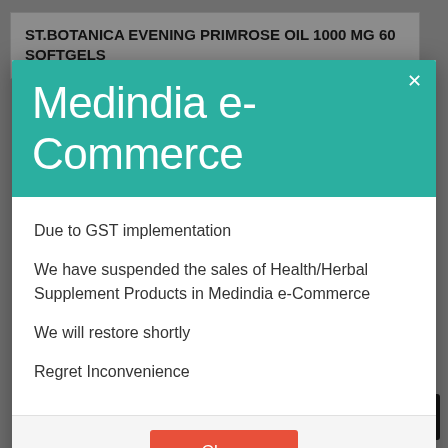ST.BOTANICA EVENING PRIMROSE OIL 1000 MG 60 SOFTGELS
[Figure (screenshot): Modal dialog with teal header titled 'Medindia e-Commerce' containing a notice about GST implementation suspending Health/Herbal Supplement Products sales, with a Close button]
Medindia e-Commerce
Due to GST implementation
We have suspended the sales of Health/Herbal Supplement Products in Medindia e-Commerce
We will restore shortly
Regret Inconvenience